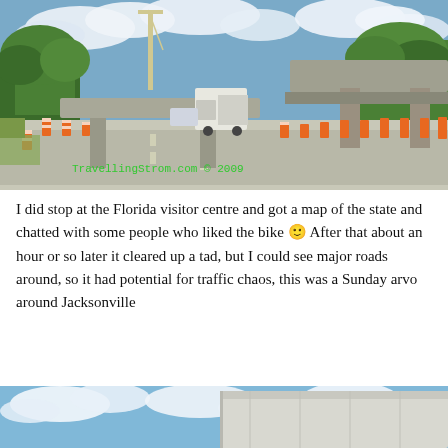[Figure (photo): Highway construction scene with orange barrels/cones lining the road, a semi-truck ahead, overhead bridge structure on the right, construction cranes and greenery in background, blue sky with clouds. Watermark text: TravellingStrom.com © 2009 in green.]
I did stop at the Florida visitor centre and got a map of the state and chatted with some people who liked the bike 🙂 After that about an hour or so later it cleared up a tad, but I could see major roads around, so it had potential for traffic chaos, this was a Sunday arvo around Jacksonville
[Figure (photo): Partial view of a large truck/trailer on highway under blue sky with white clouds, cropped at bottom of page.]